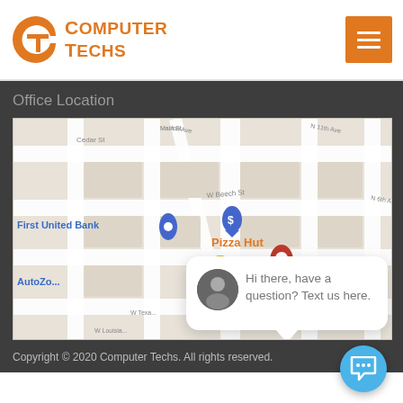[Figure (logo): Computer Techs logo with orange stylized C and T letters and orange text]
[Figure (screenshot): Google Maps screenshot showing streets near Pizza Hut, First United Bank, AutoZone with a red location pin marker]
Office Location
Hi there, have a question? Text us here.
Copyright © 2020 Computer Techs. All rights reserved.